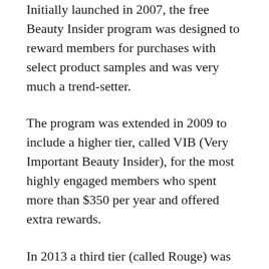Initially launched in 2007, the free Beauty Insider program was designed to reward members for purchases with select product samples and was very much a trend-setter.
The program was extended in 2009 to include a higher tier, called VIB (Very Important Beauty Insider), for the most highly engaged members who spent more than $350 per year and offered extra rewards.
In 2013 a third tier (called Rouge) was added for the highest spenders who parted with more than $1,000 a year at Sephora. It gave first access to new products, limited editions and invitations to special events.
An exclusive Rewards Bazaar was added in 2016 as an exchange platform where members could redeem